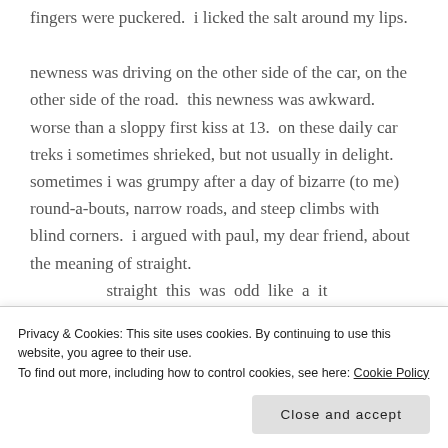fingers were puckered.  i licked the salt around my lips.
newness was driving on the other side of the car, on the other side of the road.  this newness was awkward.  worse than a sloppy first kiss at 13.  on these daily car treks i sometimes shrieked, but not usually in delight.  sometimes i was grumpy after a day of bizarre (to me) round-a-bouts, narrow roads, and steep climbs with blind corners.  i argued with paul, my dear friend, about the meaning of straight.
[truncated line partially visible]
Privacy & Cookies: This site uses cookies. By continuing to use this website, you agree to their use.
To find out more, including how to control cookies, see here: Cookie Policy
Close and accept